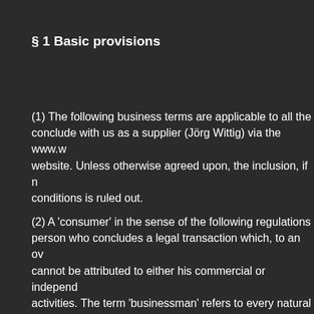§ 1 Basic provisions
(1) The following business terms are applicable to all the contracts conclude with us as a supplier (Jörg Wittig) via the www.w website. Unless otherwise agreed upon, the inclusion, if n conditions is ruled out.
(2)  A 'consumer' in the sense of the following regulations person who concludes a legal transaction which, to an ov cannot be attributed to either his commercial or independ activities. The term 'businessman' refers to every natural p or legally responsible partnership that concludes a legal t pursuance of his/its independent professional or commerc